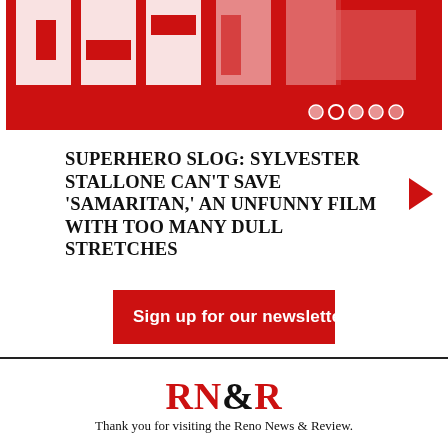[Figure (screenshot): Red banner with large stylized white block letters on a red background, with navigation dots in the lower right area]
SUPERHERO SLOG: SYLVESTER STALLONE CAN'T SAVE ‘SAMARITAN,’ AN UNFUNNY FILM WITH TOO MANY DULL STRETCHES
Sign up for our newsletter!
RN&R
Thank you for visiting the Reno News & Review.